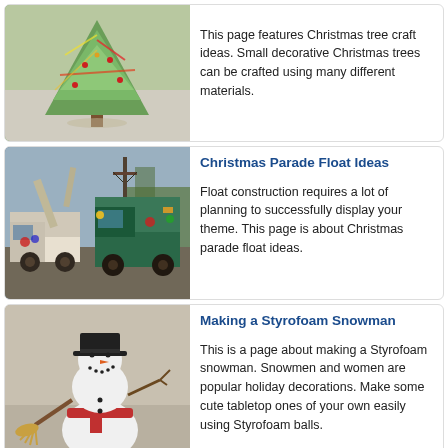[Figure (photo): Handmade decorative Christmas tree craft made from paper or ribbon materials]
This page features Christmas tree craft ideas. Small decorative Christmas trees can be crafted using many different materials.
[Figure (photo): Trucks decorated for a Christmas parade float]
Christmas Parade Float Ideas
Float construction requires a lot of planning to successfully display your theme. This page is about Christmas parade float ideas.
[Figure (photo): Styrofoam snowman with black top hat, broom, and red scarf]
Making a Styrofoam Snowman
This is a page about making a Styrofoam snowman. Snowmen and women are popular holiday decorations. Make some cute tabletop ones of your own easily using Styrofoam balls.